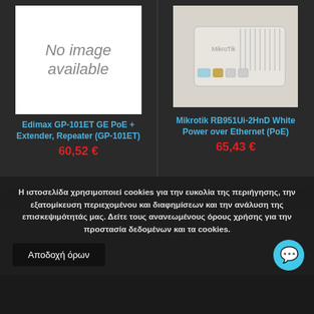[Figure (illustration): No image available placeholder — white box with grey italic text]
Edimax GP-101ET GE PoE + Extender, Repeater (GP-101ET)
60,52 €
🛒 Προσθήκη στο καλάθι
[Figure (photo): Photo of Mikrotik RB951Ui-2HnD white router/switch device]
Mikrotik RB951Ui-2HnD White Power over Ethernet (PoE)
65,43 €
🛒 Προσθήκη στο καλάθι
Η ιστοσελίδα χρησιμοποιεί cookies για την ευκολία της περιήγησης, την εξατομίκευση περιεχομένου και διαφημίσεων και την ανάλυση της επισκεψιμότητάς μας. Δείτε τους ανανεωμένους όρους χρήσης για την προστασία δεδομένων και τα cookies.
Αποδοχή όρων